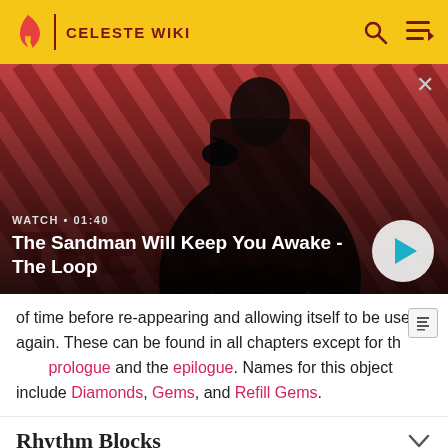CELESTE WIKI
[Figure (screenshot): Video thumbnail showing a dark-cloaked figure with a raven against a red diagonal striped background. Label reads 'THE LOOP'. Watch time shown as 01:40. Video title: The Sandman Will Keep You Awake - The Loop]
of time before re-appearing and allowing itself to be used again. These can be found in all chapters except for the prologue and the epilogue. Names for this object include Diamonds, Gems, and Refill Gems.
Rhythm Blocks